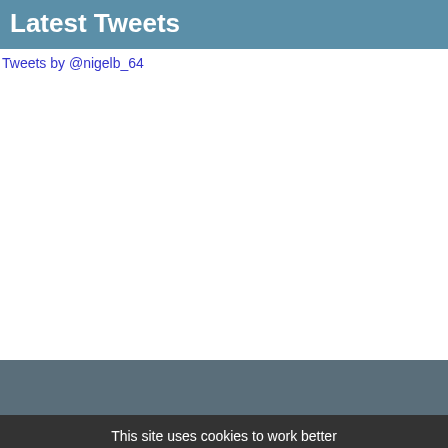Latest Tweets
Tweets by @nigelb_64
This site uses cookies to work better
I understand
Find out more